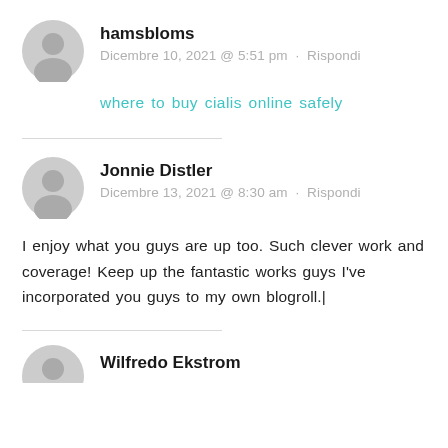hamsbloms
Dicembre 10, 2021 @ 5:51 pm · Rispondi
where to buy cialis online safely
Jonnie Distler
Dicembre 13, 2021 @ 8:30 am · Rispondi
I enjoy what you guys are up too. Such clever work and coverage! Keep up the fantastic works guys I've incorporated you guys to my own blogroll.|
Wilfredo Ekstrom